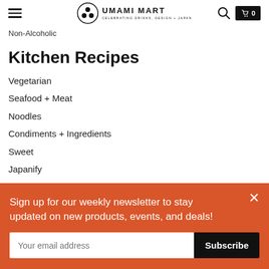Umami Mart — Celebrating Drinks, Design + Japan
Non-Alcoholic
Kitchen Recipes
Vegetarian
Seafood + Meat
Noodles
Condiments + Ingredients
Sweet
Japanify
Cities + Places
Sign up for our weekly newsletter to stay updated on new products, events, and deals!